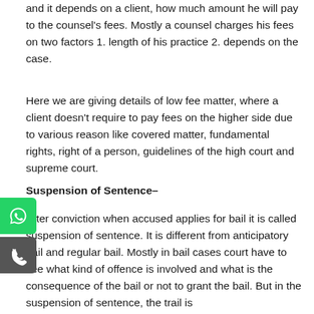and it depends on a client, how much amount he will pay to the counsel's fees. Mostly a counsel charges his fees on two factors 1. length of his practice 2. depends on the case.
Here we are giving details of low fee matter, where a client doesn't require to pay fees on the higher side due to various reason like covered matter, fundamental rights, right of a person, guidelines of the high court and supreme court.
Suspension of Sentence–
After conviction when accused applies for bail it is called suspension of sentence. It is different from anticipatory bail and regular bail. Mostly in bail cases court have to see what kind of offence is involved and what is the consequence of the bail or not to grant the bail. But in the suspension of sentence, the trail is